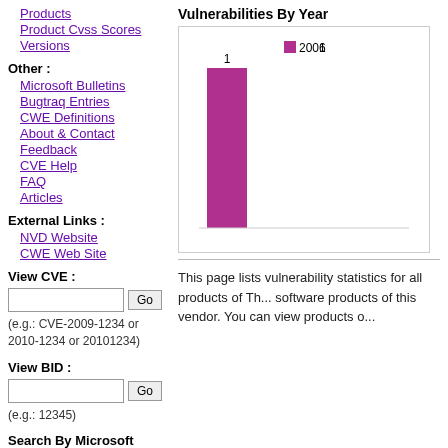Products
Product Cvss Scores
Versions
Other :
Microsoft Bulletins
Bugtraq Entries
CWE Definitions
About & Contact
Feedback
CVE Help
FAQ
Articles
External Links :
NVD Website
CWE Web Site
View CVE :
(e.g.: CVE-2009-1234 or 2010-1234 or 20101234)
View BID :
(e.g.: 12345)
Search By Microsoft
[Figure (bar-chart): Vulnerabilities By Year]
This page lists vulnerability statistics for all products of Th... software products of this vendor. You can view products o...